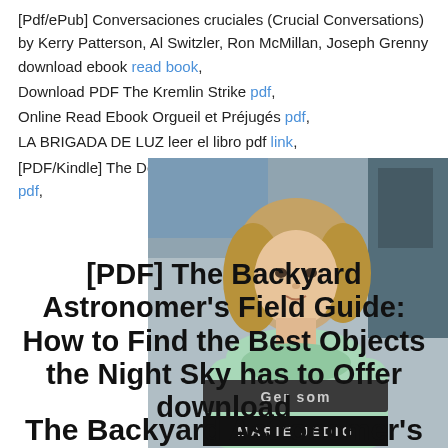[Pdf/ePub] Conversaciones cruciales (Crucial Conversations) by Kerry Patterson, Al Switzler, Ron McMillan, Joseph Grenny download ebook read book,
Download PDF The Kremlin Strike pdf,
Online Read Ebook Orgueil et Préjugés pdf,
LA BRIGADA DE LUZ leer el libro pdf link,
[PDF/Kindle] The Desert Prince by Alisha Sevigny download pdf,
[Figure (photo): Photo of a young woman with blonde hair wearing a light green knitted sweater, standing in front of what appears to be a train or bus. Overlaid text includes 'Ger som' on a dark banner and 'MARIE JEDIG' on a black bar at the bottom of the image.]
[PDF] The Backyard Astronomer's Field Guide: How to Find the Best Objects the Night Sky has to Offer download
The Backyard Astronomer's